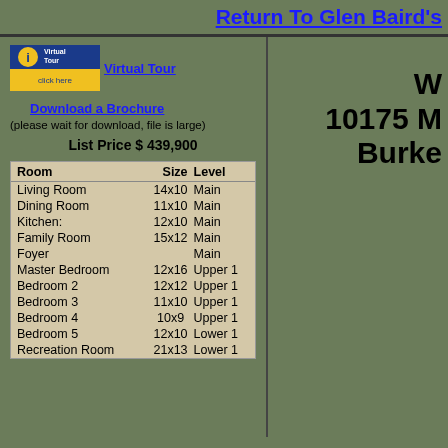Return To Glen Baird's
[Figure (logo): iPIX Virtual Tour click here logo button]
Virtual Tour
Download a Brochure
(please wait for download, file is large)
List Price $ 439,900
| Room | Size | Level |
| --- | --- | --- |
| Living Room | 14x10 | Main |
| Dining Room | 11x10 | Main |
| Kitchen: | 12x10 | Main |
| Family Room | 15x12 | Main |
| Foyer |  | Main |
| Master Bedroom | 12x16 | Upper 1 |
| Bedroom 2 | 12x12 | Upper 1 |
| Bedroom 3 | 11x10 | Upper 1 |
| Bedroom 4 | 10x9 | Upper 1 |
| Bedroom 5 | 12x10 | Lower 1 |
| Recreation Room | 21x13 | Lower 1 |
10175 M
Burke